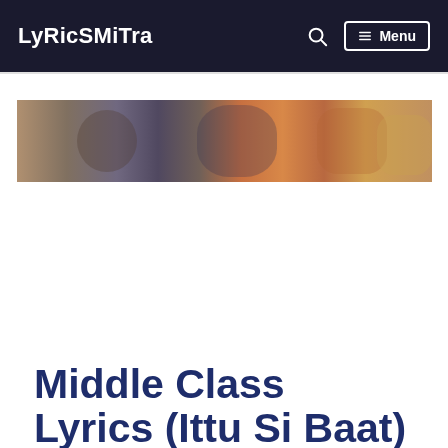LyRicSMiTra
[Figure (photo): Banner/header photograph showing people in a colorful scene]
Middle Class Lyrics (Ittu Si Baat)